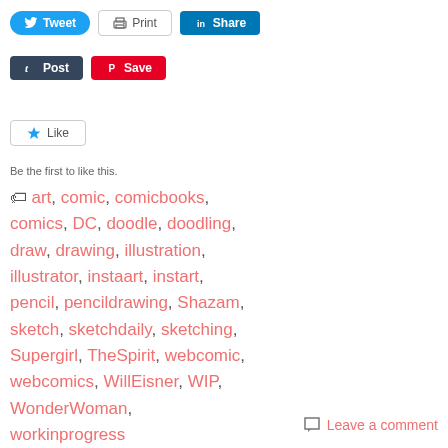[Figure (screenshot): Social sharing buttons row 1: Tweet (blue), Print (outlined), Share on LinkedIn (blue)]
[Figure (screenshot): Social sharing buttons row 2: Post on Tumblr (dark), Save on Pinterest (red)]
[Figure (screenshot): Like button with star icon]
Be the first to like this.
art, comic, comicbooks, comics, DC, doodle, doodling, draw, drawing, illustration, illustrator, instaart, instart, pencil, pencildrawing, Shazam, sketch, sketchdaily, sketching, Supergirl, TheSpirit, webcomic, webcomics, WillEisner, WIP, WonderWoman, workinprogress
Leave a comment